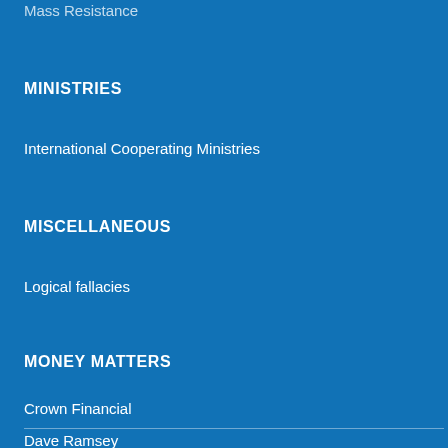Mass Resistance
MINISTRIES
International Cooperating Ministries
MISCELLANEOUS
Logical fallacies
MONEY MATTERS
Crown Financial
Dave Ramsey